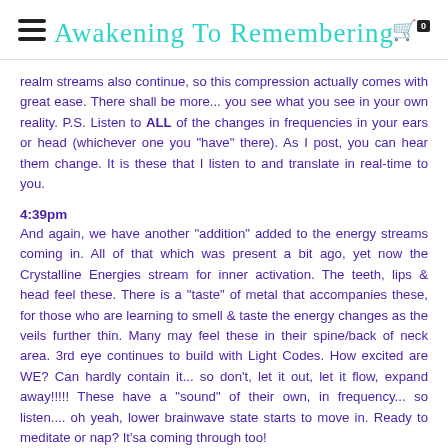Awakening To Remembering
realm streams also continue, so this compression actually comes with great ease. There shall be more... you see what you see in your own reality. P.S. Listen to ALL of the changes in frequencies in your ears or head (whichever one you "have" there). As I post, you can hear them change. It is these that I listen to and translate in real-time to you.
4:39pm
And again, we have another "addition" added to the energy streams coming in. All of that which was present a bit ago, yet now the Crystalline Energies stream for inner activation. The teeth, lips & head feel these. There is a "taste" of metal that accompanies these, for those who are learning to smell & taste the energy changes as the veils further thin. Many may feel these in their spine/back of neck area. 3rd eye continues to build with Light Codes. How excited are WE? Can hardly contain it... so don't, let it out, let it flow, expand away!!!!! These have a "sound" of their own, in frequency... so listen.... oh yeah, lower brainwave state starts to move in. Ready to meditate or nap? It'sa coming through too!